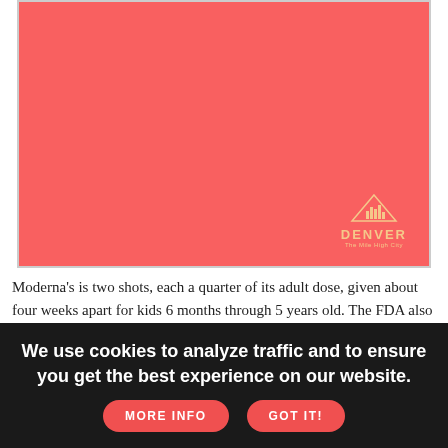[Figure (illustration): A large salmon/coral-red rectangle (image placeholder) with a Denver city logo in the lower-right corner showing a mountain with city skyline silhouette and text 'DENVER The Mile High City' in beige/gold color.]
Moderna's is two shots, each a quarter of its adult dose, given about four weeks apart for kids 6 months through 5 years old. The FDA also approved a third dose, at least a month after the second shot, for children with immune conditions that make them more vulnerable
We use cookies to analyze traffic and to ensure you get the best experience on our website.
MORE INFO
GOT IT!